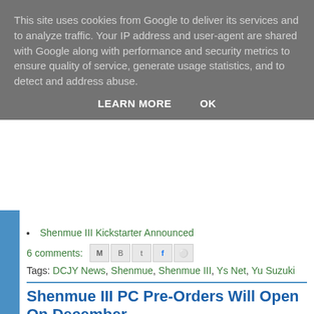This site uses cookies from Google to deliver its services and to analyze traffic. Your IP address and user-agent are shared with Google along with performance and security metrics to ensure quality of service, generate usage statistics, and to detect and address abuse.
LEARN MORE   OK
Shenmue III Kickstarter Announced
6 comments:
Tags: DCJY News, Shenmue, Shenmue III, Ys Net, Yu Suzuki
Shenmue III PC Pre-Orders Will Open On December
By Tom Charnock
[Figure (photo): Dark photo of a young man's face, partially lit, from a video game (Shenmue III)]